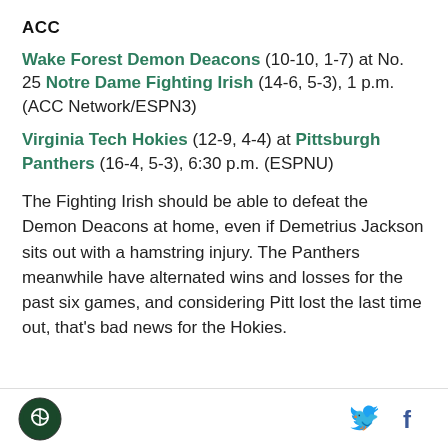ACC
Wake Forest Demon Deacons (10-10, 1-7) at No. 25 Notre Dame Fighting Irish (14-6, 5-3), 1 p.m. (ACC Network/ESPN3)
Virginia Tech Hokies (12-9, 4-4) at Pittsburgh Panthers (16-4, 5-3), 6:30 p.m. (ESPNU)
The Fighting Irish should be able to defeat the Demon Deacons at home, even if Demetrius Jackson sits out with a hamstring injury. The Panthers meanwhile have alternated wins and losses for the past six games, and considering Pitt lost the last time out, that's bad news for the Hokies.
Logo and social media icons (Twitter, Facebook)